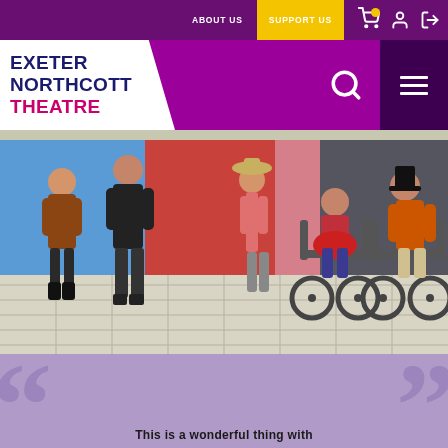ABOUT US | SUPPORT US
EXETER NORTHCOTT THEATRE
[Figure (photo): Group of five people in a room with colorful panels (blue, red, pink, grey). Two people are in motorized wheelchairs; one wears a black top hat and orange sweater, the other sits with a red fluffy prop. A woman in a hat and pink top stands in the middle. On the left, a woman in brown cardigan and a man in black shirt gesture expressively. The floor has large white tiles.]
This is a wonderful thing with